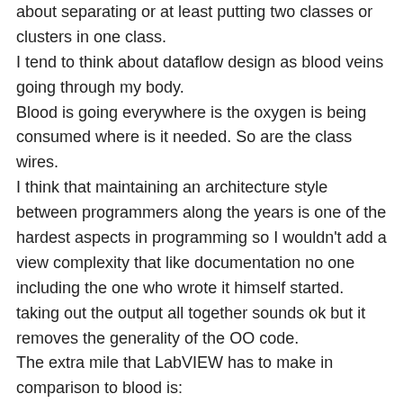about separating or at least putting two classes or clusters in one class.
I tend to think about dataflow design as blood veins going through my body.
Blood is going everywhere is the oxygen is being consumed where is it needed. So are the class wires.
I think that maintaining an architecture style between programmers along the years is one of the hardest aspects in programming so I wouldn't add a view complexity that like documentation no one including the one who wrote it himself started.
taking out the output all together sounds ok but it removes the generality of the OO code.
The extra mile that LabVIEW has to make in comparison to blood is:
Each blood cell is a class (lets not talk for a minute about actors) that gets a cluster of Oxygen injected to it and after use the blood cell goes to the garbage collection in the lungs.
The system starts with a number of blood cells and adds or destroys them along the way as required.
I imagine LabVIEW starting with lots of actors for its own use